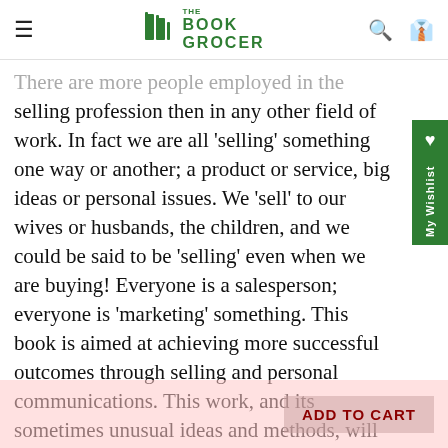The Book Grocer
There are more people employed in the selling profession then in any other field of work. In fact we are all 'selling' something one way or another; a product or service, big ideas or personal issues. We 'sell' to our wives or husbands, the children, and we could be said to be 'selling' even when we are buying! Everyone is a salesperson; everyone is 'marketing' something. This book is aimed at achieving more successful outcomes through selling and personal communications. This work, and its sometimes unusual ideas and methods, will unlock the secret of influencing people and of achieving better sales and marketing results. These ideas are as applicable to salespeople as they are to doctors, plumbers or to anyone